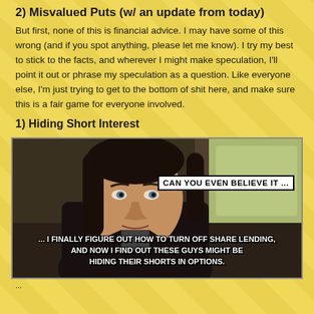2) Misvalued Puts (w/ an update from today)
But first, none of this is financial advice. I may have some of this wrong (and if you spot anything, please let me know). I try my best to stick to the facts, and wherever I might make speculation, I'll point it out or phrase my speculation as a question. Like everyone else, I'm just trying to get to the bottom of shit here, and make sure this is a fair game for everyone involved.
1) Hiding Short Interest
[Figure (photo): Meme image of a man in a car (John Travolta Pulp Fiction confused meme) with text: 'CAN YOU EVEN BELIEVE IT ...' and '... I FINALLY FIGURE OUT HOW TO TURN OFF SHARE LENDING, AND NOW I FIND OUT THESE GUYS MIGHT BE HIDING THEIR SHORTS IN OPTIONS.']
...